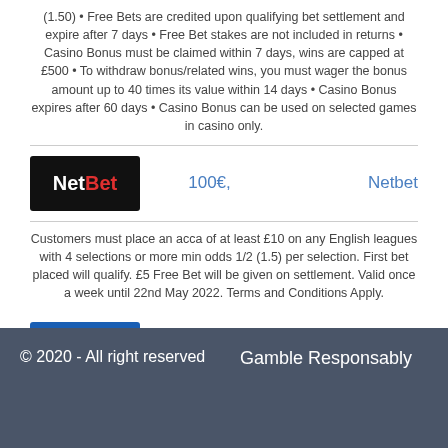(1.50) • Free Bets are credited upon qualifying bet settlement and expire after 7 days • Free Bet stakes are not included in returns • Casino Bonus must be claimed within 7 days, wins are capped at £500 • To withdraw bonus/related wins, you must wager the bonus amount up to 40 times its value within 14 days • Casino Bonus expires after 60 days • Casino Bonus can be used on selected games in casino only.
[Figure (logo): NetBet logo - black background with white 'Net' and red 'Bet' text]
100€,
Netbet
Customers must place an acca of at least £10 on any English leagues with 4 selections or more min odds 1/2 (1.5) per selection. First bet placed will qualify. £5 Free Bet will be given on settlement. Valid once a week until 22nd May 2022. Terms and Conditions Apply.
[Figure (logo): 1xBET logo - blue background with white bold italic text]
100€,
1xBet
New customers only. Place your FIRST bet on any sportsbook market and if it loses we will refund your stake in CASH. Max refund for this offer is €20. Only deposits made using Cards or Paypal will qualify for this promotion. T&Cs apply. Paddy's Rewards Club: Get a €10 free bet when you place 5x bets of €10+. T&Cs apply.
© 2020 - All right reserved    Gamble Responsably